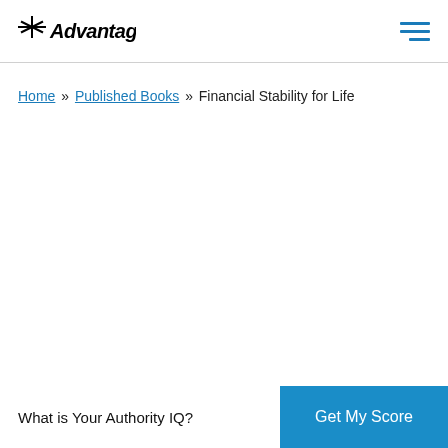Advantage [logo] [hamburger menu]
Home » Published Books » Financial Stability for Life
What is Your Authority IQ?
Get My Score